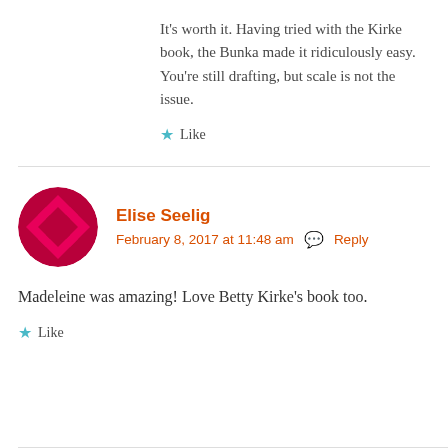It’s worth it. Having tried with the Kirke book, the Bunka made it ridiculously easy. You’re still drafting, but scale is not the issue.
★ Like
Elise Seelig
February 8, 2017 at 11:48 am  Reply
Madeleine was amazing! Love Betty Kirke’s book too.
★ Like